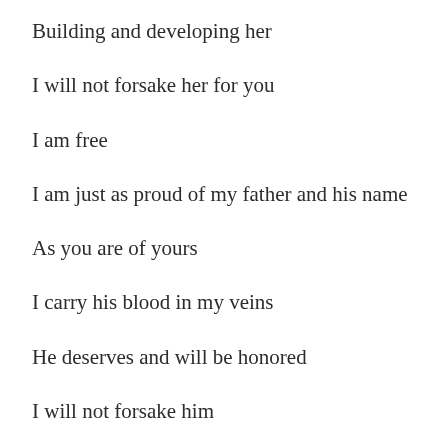Building and developing her
I will not forsake her for you
I am free
I am just as proud of my father and his name
As you are of yours
I carry his blood in my veins
He deserves and will be honored
I will not forsake him